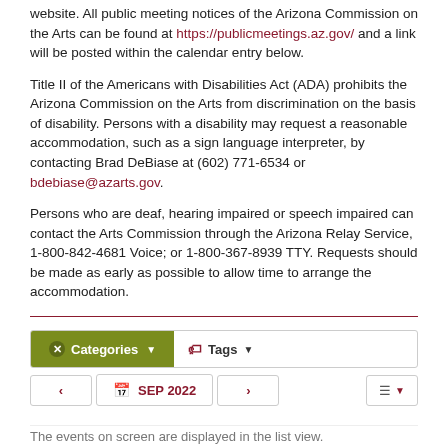website. All public meeting notices of the Arizona Commission on the Arts can be found at https://publicmeetings.az.gov/ and a link will be posted within the calendar entry below.
Title II of the Americans with Disabilities Act (ADA) prohibits the Arizona Commission on the Arts from discrimination on the basis of disability. Persons with a disability may request a reasonable accommodation, such as a sign language interpreter, by contacting Brad DeBiase at (602) 771-6534 or bdebiase@azarts.gov.
Persons who are deaf, hearing impaired or speech impaired can contact the Arts Commission through the Arizona Relay Service, 1-800-842-4681 Voice; or 1-800-367-8939 TTY. Requests should be made as early as possible to allow time to arrange the accommodation.
[Figure (screenshot): Calendar UI with Categories and Tags filter buttons, and a navigation bar showing SEP 2022 with prev/next arrows and a view toggle button]
The events on screen are displayed in the list view.